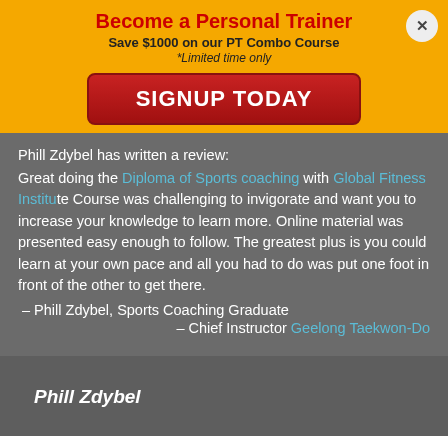Become a Personal Trainer
Save $1000 on our PT Combo Course
*Limited time only
SIGNUP TODAY
Phill Zdybel has written a review:
Great doing the Diploma of Sports coaching with Global Fitness Institute Course was challenging to invigorate and want you to increase your knowledge to learn more. Online material was presented easy enough to follow. The greatest plus is you could learn at your own pace and all you had to do was put one foot in front of the other to get there.
– Phill Zdybel, Sports Coaching Graduate
– Chief Instructor Geelong Taekwon-Do
Phill Zdybel